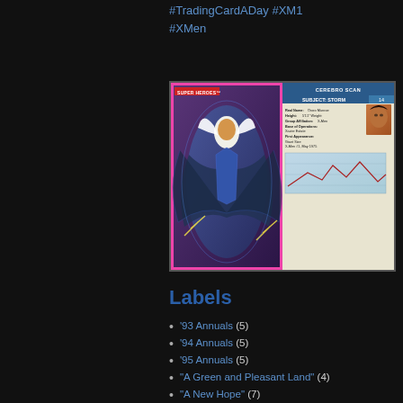#TradingCardADay #XM1
#XMen
[Figure (illustration): Two X-Men trading cards side by side. Left card shows Storm character (Super Heroes label, red) flying with cape against purple background. Right card shows Cerebro Scan data for Subject: Storm with stats, a line chart, and text description.]
Labels
'93 Annuals (5)
'94 Annuals (5)
'95 Annuals (5)
"A Green and Pleasant Land" (4)
"A New Hope" (7)
"A New Humanity" (1)
"A Skinning of Souls" (3)
"Acts of Vengeance" (18)
"Age of Apocalypse" (40)
"Asgardian Wars II" (5)
Deathbird clai rough analog t She also says previously.